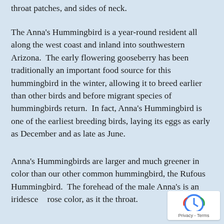throat patches, and sides of neck.
The Anna's Hummingbird is a year-round resident all along the west coast and inland into southwestern Arizona. The early flowering gooseberry has been traditionally an important food source for this hummingbird in the winter, allowing it to breed earlier than other birds and before migrant species of hummingbirds return. In fact, Anna's Hummingbird is one of the earliest breeding birds, laying its eggs as early as December and as late as June.
Anna's Hummingbirds are larger and much greener in color than our other common hummingbird, the Rufous Hummingbird. The forehead of the male Anna's is an iridescent rose color, as it the throat.